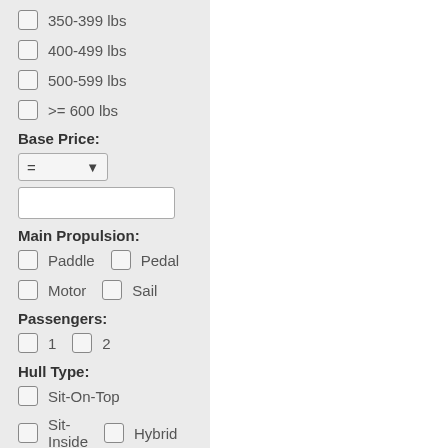350-399 lbs
400-499 lbs
500-599 lbs
>= 600 lbs
Base Price:
= (dropdown) and text input field
Main Propulsion:
Paddle
Pedal
Motor
Sail
Passengers:
1
2
Hull Type:
Sit-On-Top
Sit-Inside
Hybrid
Outrigger
SUP